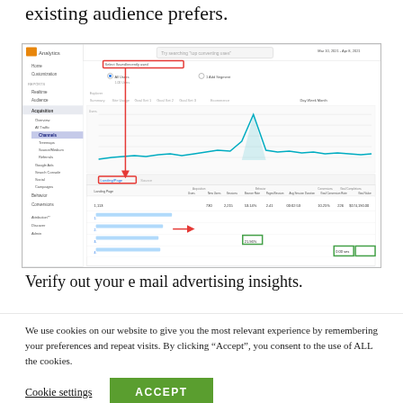existing audience prefers.
[Figure (screenshot): Google Analytics screenshot showing Acquisition > All Traffic > Channels report with Landing Page data table. Red arrows annotate the navigation path to Landing/Page report. Green boxes highlight specific data cells. A line chart shows traffic over time with a spike visible.]
Verify out your e mail advertising insights.
We use cookies on our website to give you the most relevant experience by remembering your preferences and repeat visits. By clicking “Accept”, you consent to the use of ALL the cookies.
Cookie settings
ACCEPT